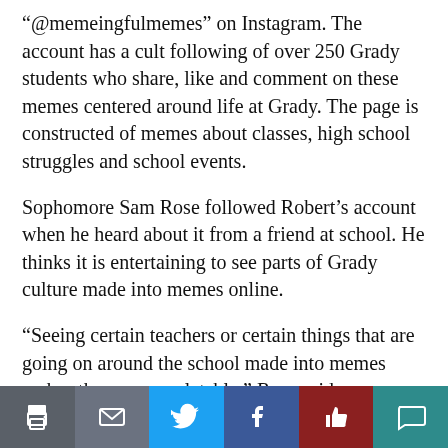“@memeingfulmemes” on Instagram. The account has a cult following of over 250 Grady students who share, like and comment on these memes centered around life at Grady. The page is constructed of memes about classes, high school struggles and school events.
Sophomore Sam Rose followed Robert’s account when he heard about it from a friend at school. He thinks it is entertaining to see parts of Grady culture made into memes online.
“Seeing certain teachers or certain things that are going on around the school made into memes makes them more relatable,” Rose said.
Roberts says the account started with her making memes about school to send to her friends, but it